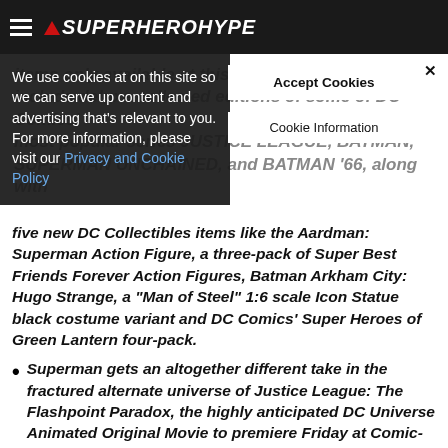SuperHeroHype
We use cookies at on this site so we can serve up content and advertising that's relevant to you. For more information, please visit our Privacy and Cookie Policy
Accept Cookies
Cookie Information
items only available at this year's... include deluxe collected editions of some of DC Comics' most popular series JUSTICE LEAGUE, BATMAN, SUPERMAN UNCHAINED, and BATMAN '66, along with five new DC Collectibles items like the Aardman: Superman Action Figure, a three-pack of Super Best Friends Forever Action Figures, Batman Arkham City: Hugo Strange, a "Man of Steel" 1:6 scale Icon Statue black costume variant and DC Comics' Super Heroes of Green Lantern four-pack.
Superman gets an altogether different take in the fractured alternate universe of Justice League: The Flashpoint Paradox, the highly anticipated DC Universe Animated Original Movie to premiere Friday at Comic-Con
Get an inside look at INSIDE MAD, the hugely anticipated forthcoming collection from "The Usual